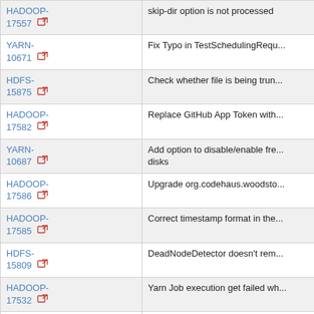| Issue | Description |
| --- | --- |
| HADOOP-17557 | skip-dir option is not processed |
| YARN-10671 | Fix Typo in TestSchedulingRequ... |
| HDFS-15875 | Check whether file is being trun... |
| HADOOP-17582 | Replace GitHub App Token with... |
| YARN-10687 | Add option to disable/enable fre... disks |
| HADOOP-17586 | Upgrade org.codehaus.woodsto... |
| HADOOP-17585 | Correct timestamp format in the... |
| HDFS-15809 | DeadNodeDetector doesn't rem... |
| HADOOP-17532 | Yarn Job execution get failed wh... |
| YARN-10588 | Percentage of queue and cluste... |
| MAPREDUCE-7322 | revisiting TestMRIntermediateDa... |
| YARN-10703 | Fix potential null pointer error of... |
| HDFS-15868 | Possible Resource Leak in Editl... |
| HADOOP-17592 | Fix the wrong CIDR range exam... |
| YARN-... | Upgrade com.github.circlefr... |